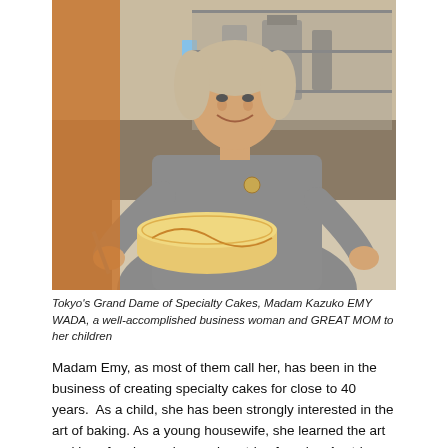[Figure (photo): A smiling woman in a grey jacket cutting or presenting a decorative cake in a bakery or shop setting. She appears to be demonstrating the cake, with kitchen/counter equipment visible in the background.]
Tokyo's Grand Dame of Specialty Cakes, Madam Kazuko EMY WADA, a well-accomplished business woman and GREAT MOM to her children
Madam Emy, as most of them call her, has been in the business of creating specialty cakes for close to 40 years.  As a child, she has been strongly interested in the art of baking. As a young housewife, she learned the art and joy of makng cakes and pastries from her Austrian mother-in-law. She since pursued her passion, living in Eruope to harness not just her